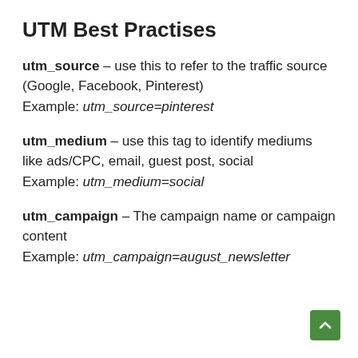UTM Best Practises
utm_source – use this to refer to the traffic source (Google, Facebook, Pinterest)
Example: utm_source=pinterest
utm_medium – use this tag to identify mediums like ads/CPC, email, guest post, social
Example: utm_medium=social
utm_campaign – The campaign name or campaign content
Example: utm_campaign=august_newsletter